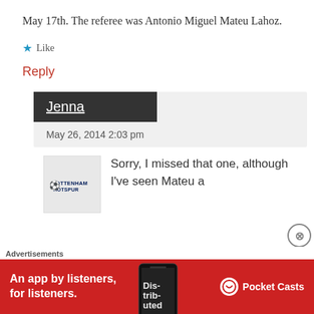May 17th. The referee was Antonio Miguel Mateu Lahoz.
★ Like
Reply
Jenna
May 26, 2014 2:03 pm
[Figure (logo): Tottenham Hotspur logo]
Sorry, I missed that one, although I've seen Mateu a
Advertisements
[Figure (screenshot): Pocket Casts advertisement banner: An app by listeners, for listeners.]